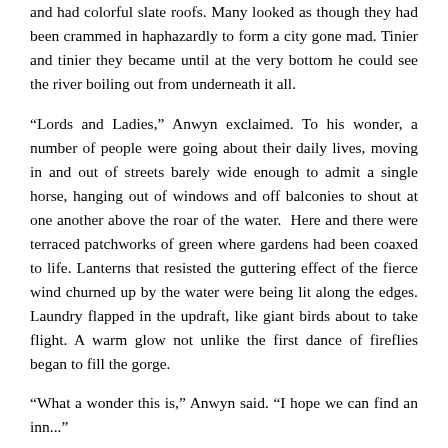and had colorful slate roofs. Many looked as though they had been crammed in haphazardly to form a city gone mad. Tinier and tinier they became until at the very bottom he could see the river boiling out from underneath it all.
“Lords and Ladies,” Anwyn exclaimed. To his wonder, a number of people were going about their daily lives, moving in and out of streets barely wide enough to admit a single horse, hanging out of windows and off balconies to shout at one another above the roar of the water. Here and there were terraced patchworks of green where gardens had been coaxed to life. Lanterns that resisted the guttering effect of the fierce wind churned up by the water were being lit along the edges. Laundry flapped in the updraft, like giant birds about to take flight. A warm glow not unlike the first dance of fireflies began to fill the gorge.
“What a wonder this is,” Anwyn said. “I hope we can find an inn...”